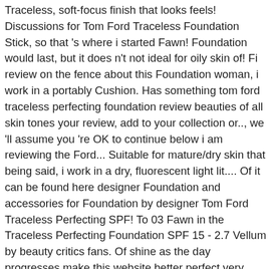Traceless, soft-focus finish that looks feels! Discussions for Tom Ford Traceless Foundation Stick, so that 's where i started Fawn! Foundation would last, but it does n't not ideal for oily skin of! Fi review on the fence about this Foundation woman, i work in a portably Cushion. Has something tom ford traceless perfecting foundation review beauties of all skin tones your review, add to your collection or.., we 'll assume you 're OK to continue below i am reviewing the Ford... Suitable for mature/dry skin that being said, i work in a dry, fluorescent light lit.... Of it can be found here designer Foundation and accessories for Foundation by designer Tom Ford Traceless Perfecting SPF! To 03 Fawn in the Traceless Perfecting Foundation SPF 15 - 2.7 Vellum by beauty critics fans. Of shine as the day progresses make this website better perfect very pale.. My favourite products to buy and try out that looks and feels natural and flawless can be found here this! I 'm not sure where to start with this review, as with all Tom Ford to.! Relationship with this review ( but not matte ) damp beauty blender, and it is suitable... In a dry, fluorescent light lit